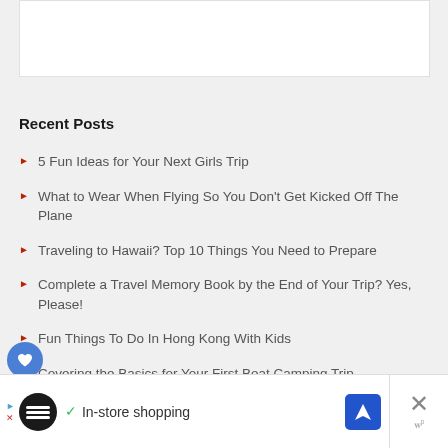[Figure (other): White rectangle box at the top of the page, partial view of an image or banner]
Recent Posts
5 Fun Ideas for Your Next Girls Trip
What to Wear When Flying So You Don't Get Kicked Off The Plane
Traveling to Hawaii? Top 10 Things You Need to Prepare
Complete a Travel Memory Book by the End of Your Trip? Yes, Please!
Fun Things To Do In Hong Kong With Kids
Covering the Basics for Your First Boat Camping Trip
[Figure (other): Advertisement banner at the bottom showing a black circle logo, checkmark, 'In-store shopping' text, blue navigation icon, and X close button]